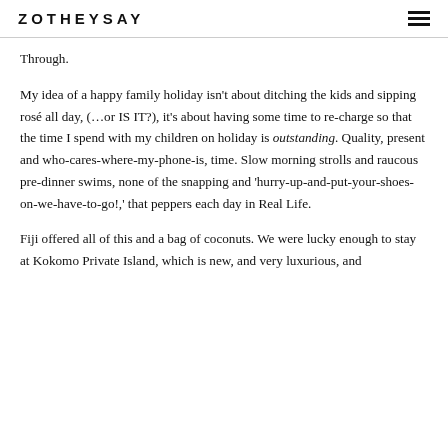ZOTHEYSAY
Through.
My idea of a happy family holiday isn't about ditching the kids and sipping rosé all day, (…or IS IT?), it's about having some time to re-charge so that the time I spend with my children on holiday is outstanding. Quality, present and who-cares-where-my-phone-is, time. Slow morning strolls and raucous pre-dinner swims, none of the snapping and 'hurry-up-and-put-your-shoes-on-we-have-to-go!,' that peppers each day in Real Life.
Fiji offered all of this and a bag of coconuts. We were lucky enough to stay at Kokomo Private Island, which is new, and very luxurious, and